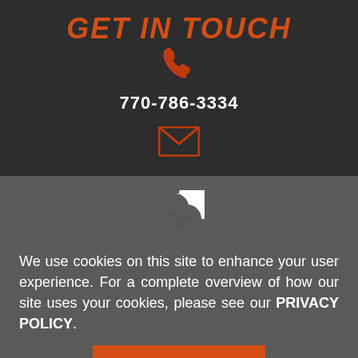GET IN TOUCH
770-786-3334
[Figure (illustration): Orange phone handset icon]
[Figure (illustration): Orange email envelope icon]
[Figure (illustration): White cookie icon with bite taken out]
We use cookies on this site to enhance your user experience. For a complete overview of how our site uses your cookies, please see our PRIVACY POLICY.
HIDE MESSAGE